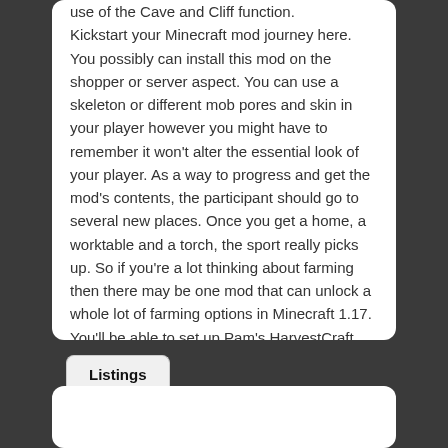use of the Cave and Cliff function. Kickstart your Minecraft mod journey here. You possibly can install this mod on the shopper or server aspect. You can use a skeleton or different mob pores and skin in your player however you might have to remember it won't alter the essential look of your player. As a way to progress and get the mod's contents, the participant should go to several new places. Once you get a home, a worktable and a torch, the sport really picks up. So if you're a lot thinking about farming then there may be one mod that can unlock a whole lot of farming options in Minecraft 1.17. You'll be able to set up Pam's HarvestCraft Mod to unlock around eighty new crops, round 6 garden bushes, 50 fruits, 19 fish, and many others. This mod can add as much as 1500 gadgets in the sport. Can you Mod Minecraft Realms? You possibly can mod Minecraft on Home windows 10, but can you mod Minecraft Realms? If you're looking for some assistance on how to put in mods in Minecraft 1.17 then keep reading. Dj w360
Listings